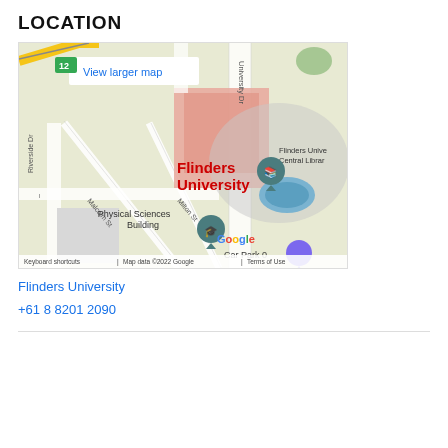LOCATION
[Figure (map): Google Maps embed showing Flinders University campus with Physical Sciences Building marker and Flinders University Central Library marker. Streets visible include University Dr, Riverside Dr, Malcolm St, Milton St. 'View larger map' link in top-left corner. Bottom bar shows: Keyboard shortcuts | Map data ©2022 Google | Terms of Use]
Flinders University
+61 8 8201 2090